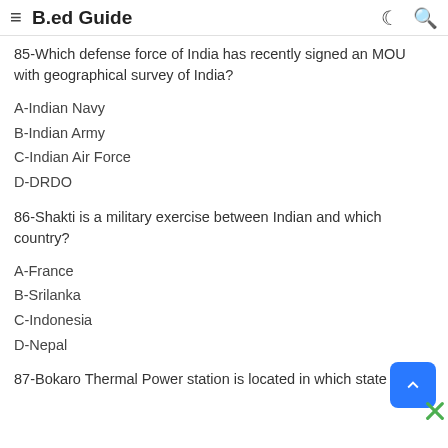≡  B.ed Guide
85-Which defense force of India has recently signed an MOU with geographical survey of India?
A-Indian Navy
B-Indian Army
C-Indian Air Force
D-DRDO
86-Shakti is a military exercise between Indian and which country?
A-France
B-Srilanka
C-Indonesia
D-Nepal
87-Bokaro Thermal Power station is located in which state